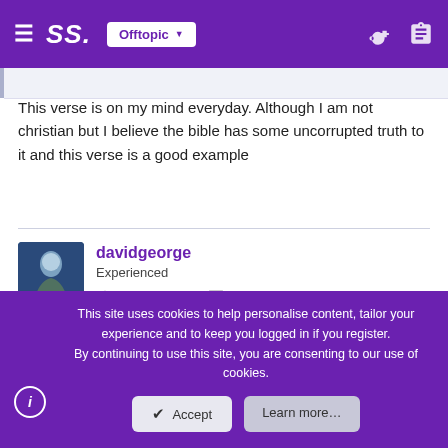SS. Offtopic
This verse is on my mind everyday. Although I am not christian but I believe the bible has some uncorrupted truth to it and this verse is a good example
davidgeorge
Experienced
Dec 21, 2021   204
Feb 5, 2022   #1,129
BBC Radio 4 - Beyond Belief, Heaven and the Afterlife
This site uses cookies to help personalise content, tailor your experience and to keep you logged in if you register.
By continuing to use this site, you are consenting to our use of cookies.
Accept   Learn more...